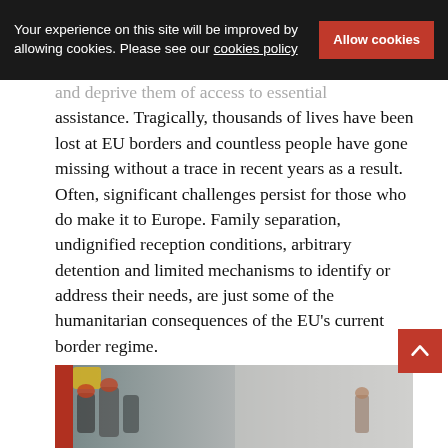Your experience on this site will be improved by allowing cookies. Please see our cookies policy  [Allow cookies]
and deprive them of access to essential assistance. Tragically, thousands of lives have been lost at EU borders and countless people have gone missing without a trace in recent years as a result. Often, significant challenges persist for those who do make it to Europe. Family separation, undignified reception conditions, arbitrary detention and limited mechanisms to identify or address their needs, are just some of the humanitarian consequences of the EU's current border regime.
[Figure (photo): Photograph showing people in safety gear/life jackets on what appears to be a rescue vessel at sea. Red equipment visible on the left side of the image.]